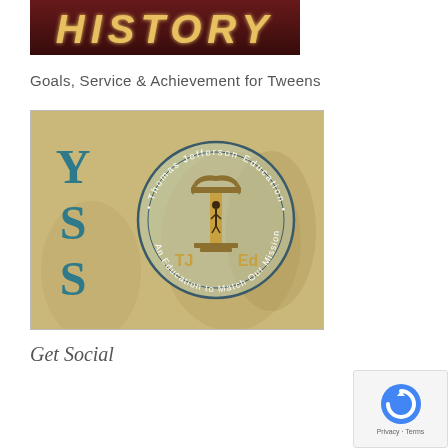[Figure (photo): Dark reddish-brown banner image with stylized text 'HISTORY' in golden/yellow letters with glow effect]
Goals, Service & Achievement for Tweens
[Figure (logo): Thomas Jefferson Education (TJEd) logo with circular seal reading 'Thomas Jefferson Education • An Education to Match Our Mission •' surrounding a column icon with 'TJ Ed' text. Large 'Y S S' letters in teal on the left side. Sepia-toned background with historical figures.]
Get Social